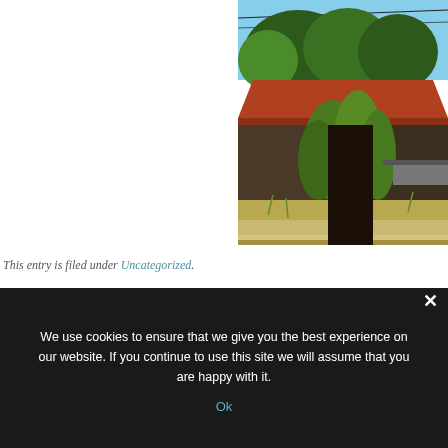[Figure (photo): Photograph of a rustic wooden barn with a red-tiled roof, surrounded by green climbing plants and trees, under a blue sky. The foreground shows dry grass and a dirt path.]
This entry is filed under Uncategorized.
We use cookies to ensure that we give you the best experience on our website. If you continue to use this site we will assume that you are happy with it.
Ok